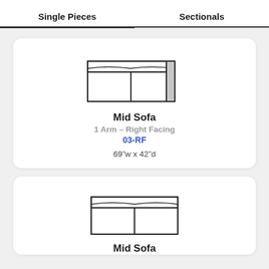Single Pieces | Sectionals
[Figure (schematic): Top-view floor plan diagram of a mid sofa with 1 arm on the right side, showing two seat cushions and a right arm rest with hatching]
Mid Sofa
1 Arm - Right Facing
03-RF
69"w x 42"d
[Figure (schematic): Top-view floor plan diagram of a mid sofa with no arms, showing two seat cushions]
Mid Sofa